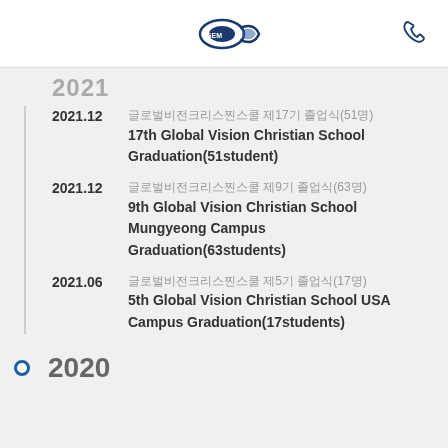GEM logo and phone icon
2021 (partial/cut off at top)
2021.12 — 글로벌비전크리스천스쿨 제17기 졸업식(51명) / 17th Global Vision Christian School Graduation(51student)
2021.12 — 글로벌비전크리스천스쿨 제9기 졸업식(63명) / 9th Global Vision Christian School Mungyeong Campus Graduation(63students)
2021.06 — 글로벌비전크리스천스쿨 제5기 졸업식(17명) / 5th Global Vision Christian School USA Campus Graduation(17students)
2020